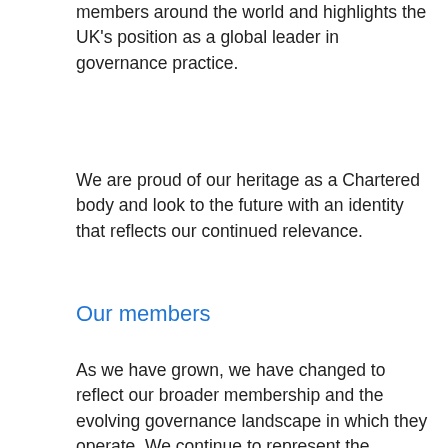members around the world and highlights the UK's position as a global leader in governance practice.
We are proud of our heritage as a Chartered body and look to the future with an identity that reflects our continued relevance.
Our members
As we have grown, we have changed to reflect our broader membership and the evolving governance landscape in which they operate. We continue to represent the interests of company secretaries whose roles have expanded to navigate more complex board and compliance arrangements. We also embrace the needs of practitioners in other sectors, such